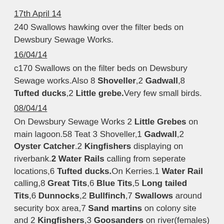17th April 14
240 Swallows hawking over the filter beds on Dewsbury Sewage Works.
16/04/14
c170 Swallows on the filter beds on Dewsbury Sewage works.Also 8 Shoveller,2 Gadwall,8 Tufted ducks,2 Little grebe.Very few small birds.
08/04/14
On Dewsbury Sewage Works 2 Little Grebes on main lagoon.58 Teat 3 Shoveller,1 Gadwall,2 Oyster Catcher.2 Kingfishers displaying on riverbank.2 Water Rails calling from seperate locations,6 Tufted ducks.On Kerries.1 Water Rail calling,8 Great Tits,6 Blue Tits,5 Long tailed Tits,6 Dunnocks,2 Bullfinch,7 Swallows around security box area,7 Sand martins on colony site and 2 Kingfishers,3 Goosanders on river(females) near sewage works fence. 5 Cormorants on river by the new traffic